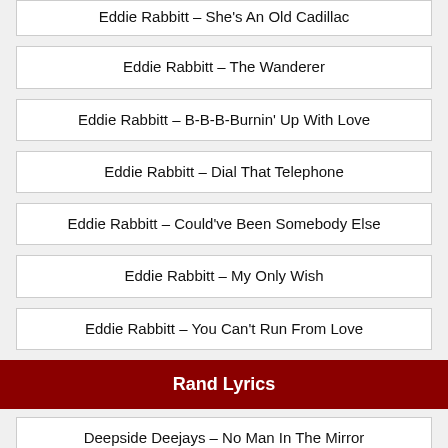Eddie Rabbitt – She's An Old Cadillac
Eddie Rabbitt – The Wanderer
Eddie Rabbitt – B-B-B-Burnin' Up With Love
Eddie Rabbitt – Dial That Telephone
Eddie Rabbitt – Could've Been Somebody Else
Eddie Rabbitt – My Only Wish
Eddie Rabbitt – You Can't Run From Love
Rand Lyrics
Deepside Deejays – No Man In The Mirror
Deepside Deejays – Street Feel...